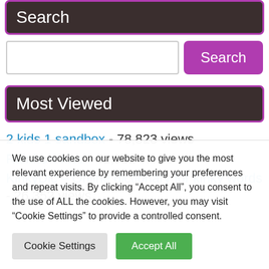Search
[Figure (screenshot): Search input field and Search button]
Most Viewed
2 kids 1 sandbox - 78,823 views
Rainbow kiss - 41,912 views
KinkyDic – Online dictionary for kinky words - 26,352 views
We use cookies on our website to give you the most relevant experience by remembering your preferences and repeat visits. By clicking "Accept All", you consent to the use of ALL the cookies. However, you may visit "Cookie Settings" to provide a controlled consent.
Cookie Settings | Accept All